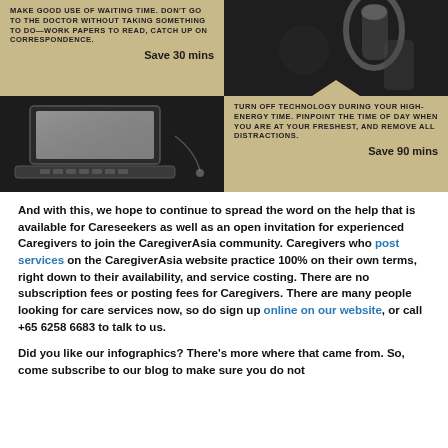[Figure (infographic): 2x2 grid infographic with alternating tan and dark photo cells. Top-left tan cell: text about making good use of waiting time, Save 30 mins. Top-right: dark photo of bottle/glass. Bottom-left: dark photo of laptop. Bottom-right tan cell: text about turning off technology during high-energy time, Save 90 mins.]
And with this, we hope to continue to spread the word on the help that is available for Careseekers as well as an open invitation for experienced Caregivers to join the CaregiverAsia community. Caregivers who post services on the CaregiverAsia website practice 100% on their own terms, right down to their availability, and service costing. There are no subscription fees or posting fees for Caregivers. There are many people looking for care services now, so do sign up online on our website, or call +65 6258 6683 to talk to us.
Did you like our infographics? There's more where that came from. So, come subscribe to our blog to make sure you do not